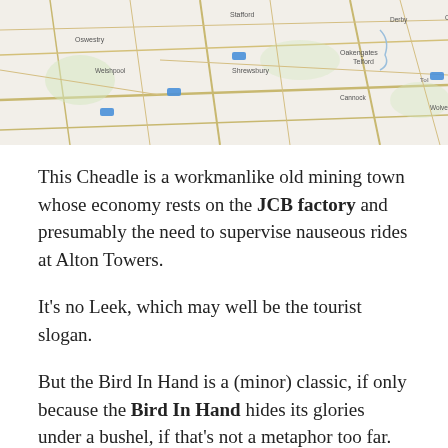[Figure (map): A road map of the English Midlands showing towns including Stafford, Telford, Shrewsbury, Wolverhampton, Walsall, Sutton Coldfield, Tamworth, Burton upon Trent, Derby, Leicester, Cannock, and surrounding areas with road networks.]
This Cheadle is a workmanlike old mining town whose economy rests on the JCB factory and presumably the need to supervise nauseous rides at Alton Towers.
It’s no Leek, which may well be the tourist slogan.
But the Bird In Hand is a (minor) classic, if only because the Bird In Hand hides its glories under a bushel, if that’s not a metaphor too far.